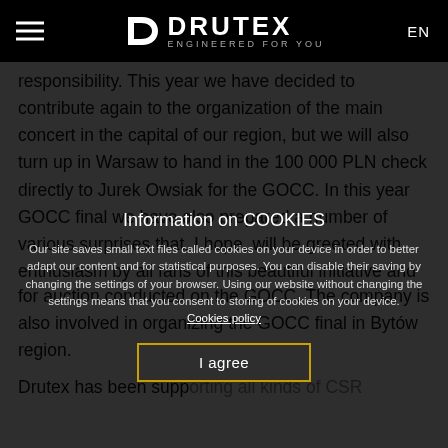DRUTEX — ENGINEERED FOR YOU | EN
responsibility. This year we have decided to contribute again to the organization of the main concert in the capital of our region, but we will also turn up in Warsaw to hand in the 100 000 PLN check directly to Jurek Owsiak for the GOCC. In this year GOCC final we have also prepared a number of various surprises that, I hope, will be greeted with enthusiasm by all fans of this beautiful initiative and all good-willed people" – said Adam Leik, marketing Director at Drotex.
Information on COOKIES
Our site saves small text files called cookies on your device in order to better adapt our content and for statistical purposes. You can disable their saving by changing the settings of your browser. Using our website without changing the settings means that you consent to storing of cookies on your device.
Cookies policy
I agree
for auction conducted on the GOCC. The company is also involved in organizing the GOCC final in Bytów region.
Drutex has been supporting all kinds of CSR